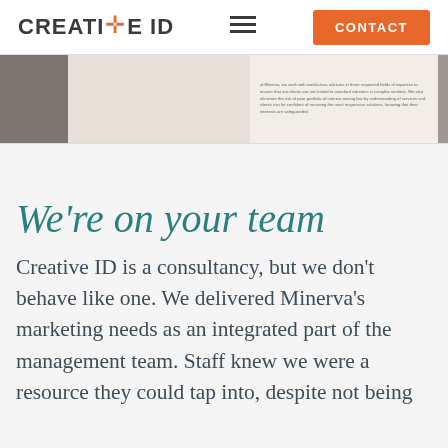CREATIVE ID  [hamburger menu]  CONTACT
[Figure (photo): A horizontal image strip showing dark grey, light beige, a text panel with small body copy, and a dark grey section on the right.]
We're on your team
Creative ID is a consultancy, but we don't behave like one. We delivered Minerva's marketing needs as an integrated part of the management team. Staff knew we were a resource they could tap into, despite not being